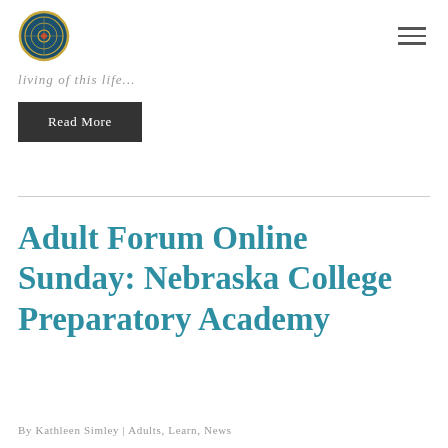living of this life...
Read More
Adult Forum Online Sunday: Nebraska College Preparatory Academy
By Kathleen Simley | Adults, Learn, News